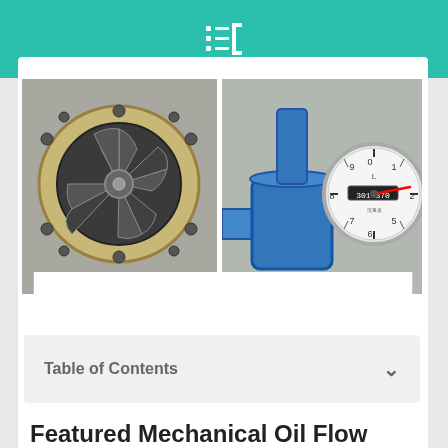Table of Contents icon header
[Figure (photo): Two photos of mechanical oil flow meters: left photo shows a flanged rotor/turbine impeller mechanism; right photo shows a blue pipe-mounted flow meter with an analog gauge dial reading approximately 301.370]
Table of Contents
Featured Mechanical Oil Flow Meters